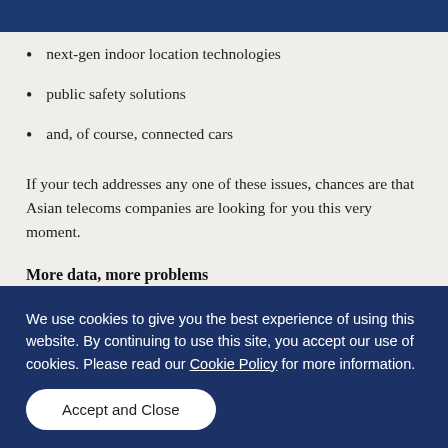VR/AR-powered educational/enterprise/industrial systems
next-gen indoor location technologies
public safety solutions
and, of course, connected cars
If your tech addresses any one of these issues, chances are that Asian telecoms companies are looking for you this very moment.
More data, more problems
The world of telecoms and its 'satellite' industries have been hoarding user data for years, for better and worse. On one hand, we get
We use cookies to give you the best experience of using this website. By continuing to use this site, you accept our use of cookies. Please read our Cookie Policy for more information.
Accept and Close